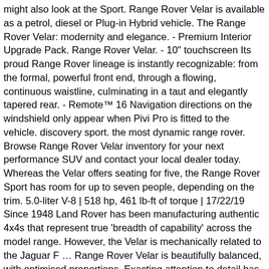might also look at the Sport. Range Rover Velar is available as a petrol, diesel or Plug-in Hybrid vehicle. The Range Rover Velar: modernity and elegance. - Premium Interior Upgrade Pack. Range Rover Velar. - 10" touchscreen Its proud Range Rover lineage is instantly recognizable: from the formal, powerful front end, through a flowing, continuous waistline, culminating in a taut and elegantly tapered rear. - Remote™ 16 Navigation directions on the windshield only appear when Pivi Pro is fitted to the vehicle. discovery sport. the most dynamic range rover. Browse Range Rover Velar inventory for your next performance SUV and contact your local dealer today. Whereas the Velar offers seating for five, the Range Rover Sport has room for up to seven people, depending on the trim. 5.0-liter V-8 | 518 hp, 461 lb-ft of torque | 17/22/19 Since 1948 Land Rover has been manufacturing authentic 4x4s that represent true 'breadth of capability' across the model range. However, the Velar is mechanically related to the Jaguar F … Range Rover Velar is beautifully balanced, with optimised proportions. Exacting attention to detail has always been fundamental to our vehicles. - Apple CarPlay® 20 ‡ After 20GB of data is used within a month, data speeds on vehicle may be reduced for the rest of the month. Overall, the Velar has more cargo room. Features included in the optional Meridian Surround Sound System: Digital Signal Processing, Meridian Cabin Correction, Meridian Digital Dither Shaping, 3D Trifield. Compare and